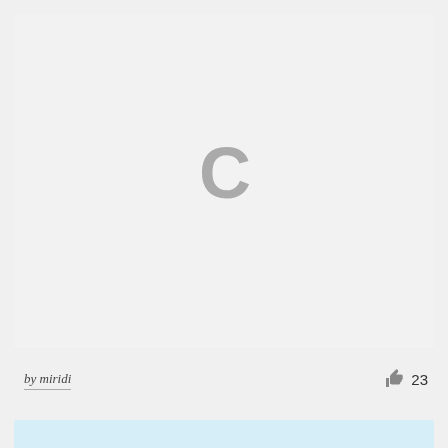[Figure (illustration): Large light gray rectangular card area with a loading/placeholder letter C in medium gray centered in the upper portion]
by miridi
23